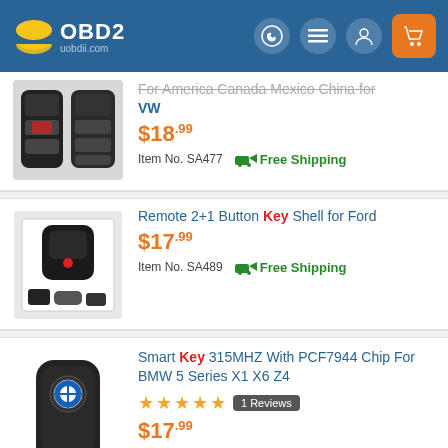OBD2 uobdii.com
For America Canada Mexico China for VW — $18.99 — Item No. SA477 — Free Shipping
Remote 2+1 Button Key Shell for Ford — $17.99 — Item No. SA489 — Free Shipping
Smart Key 315MHZ With PCF7944 Chip For BMW 5 Series X1 X6 Z4 — 1 Reviews — $17.99